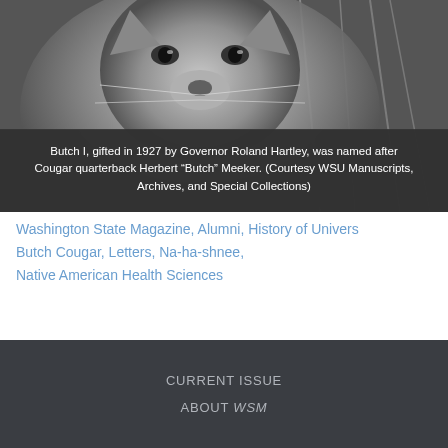[Figure (photo): Black and white close-up photograph of Butch the Cougar mascot, shown from the face/head angle near what appears to be a cage or enclosure with visible bars in the background.]
Butch I, gifted in 1927 by Governor Roland Hartley, was named after Cougar quarterback Herbert “Butch” Meeker. (Courtesy WSU Manuscripts, Archives, and Special Collections)
Washington State Magazine, Alumni, History of University, Butch Cougar, Letters, Na-ha-shnee, Native American Health Sciences
CURRENT ISSUE
ABOUT WSM